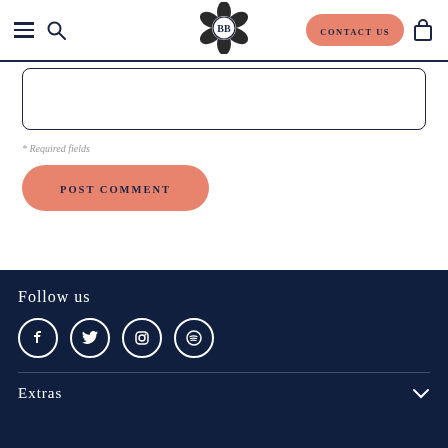[Figure (screenshot): Website navigation bar with hamburger menu, search icon, BB floral logo, Contact Us button, and cart icon]
* Required fields
POST COMMENT
Follow us
[Figure (illustration): Social media icons: Facebook, Twitter, Instagram, Spotify in circles]
Extras